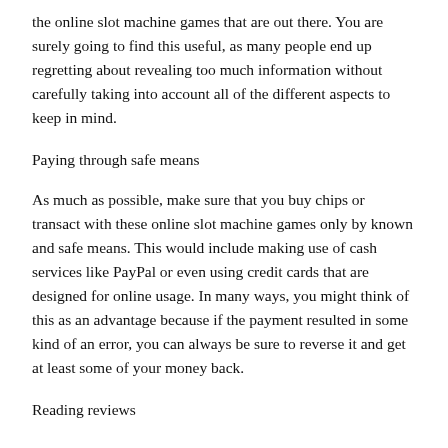the online slot machine games that are out there. You are surely going to find this useful, as many people end up regretting about revealing too much information without carefully taking into account all of the different aspects to keep in mind.
Paying through safe means
As much as possible, make sure that you buy chips or transact with these online slot machine games only by known and safe means. This would include making use of cash services like PayPal or even using credit cards that are designed for online usage. In many ways, you might think of this as an advantage because if the payment resulted in some kind of an error, you can always be sure to reverse it and get at least some of your money back.
Reading reviews